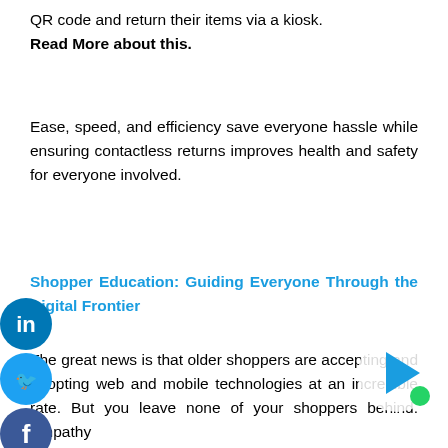QR code and return their items via a kiosk. Read More about this.
Ease, speed, and efficiency save everyone hassle while ensuring contactless returns improves health and safety for everyone involved.
Shopper Education: Guiding Everyone Through the Digital Frontier
The great news is that older shoppers are accepting and adopting web and mobile technologies at an incredible rate. But you leave none of your shoppers behind. Empathy